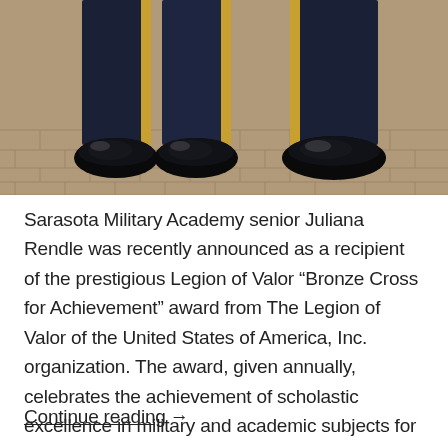[Figure (photo): Close-up photo of military cadets in dark navy dress uniforms with gold/yellow stripe down the pants leg, standing on a brick/cobblestone pavement, only their legs and shoes visible. Shoes are highly polished black dress shoes.]
Sarasota Military Academy senior Juliana Rendle was recently announced as a recipient of the prestigious Legion of Valor “Bronze Cross for Achievement” award from The Legion of Valor of the United States of America, Inc. organization. The award, given annually, celebrates the achievement of scholastic excellence in military and academic subjects for outstanding cadets. With
Continue reading→